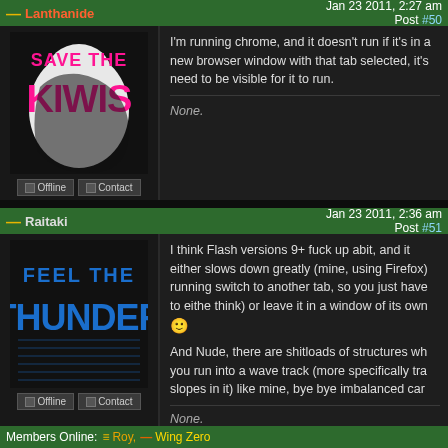— Lanthanide   Jan 23 2011, 2:27 am   Post #50
I'm running chrome, and it doesn't run if it's in a new browser window with that tab selected, it's need to be visible for it to run.
None.
— Raitaki   Jan 23 2011, 2:36 am   Post #51
I think Flash versions 9+ fuck up abit, and it either slows down greatly (mine, using Firefox) running switch to another tab, so you just have to either think) or leave it in a window of its own 🙂
And Nude, there are shitloads of structures wh you run into a wave track (more specifically tra slopes in it) like mine, bye bye imbalanced car
None.
Members Online:  ≡ Roy,  — Wing Zero